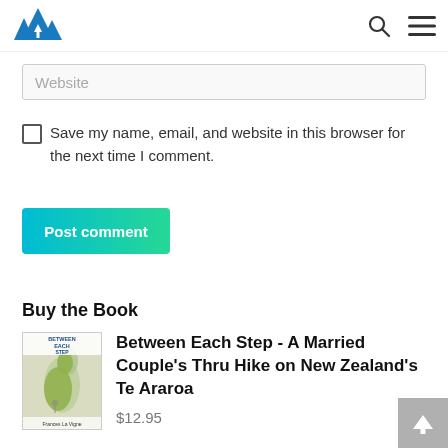Mountain hiking blog site header with logo, search icon, and menu icon
Website
Save my name, email, and website in this browser for the next time I comment.
Post comment
Buy the Book
[Figure (photo): Book cover for 'Between Each Step' showing map of New Zealand]
Between Each Step - A Married Couple's Thru Hike on New Zealand's Te Araroa
$12.95